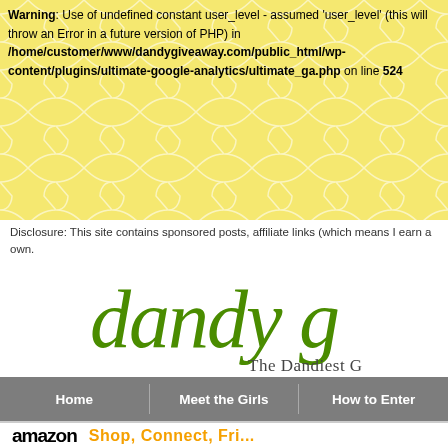Warning: Use of undefined constant user_level - assumed 'user_level' (this will throw an Error in a future version of PHP) in /home/customer/www/dandygiveaway.com/public_html/wp-content/plugins/ultimate-google-analytics/ultimate_ga.php on line 524
Disclosure: This site contains sponsored posts, affiliate links (which means I earn a own.
[Figure (logo): Dandy Giveaway logo in green script font reading 'dandy g' with subtitle 'The Dandiest G' on a white background with yellow moroccan tile pattern header]
Home | Meet the Girls | How to Enter
amazon  Shop, Connect, Fri...